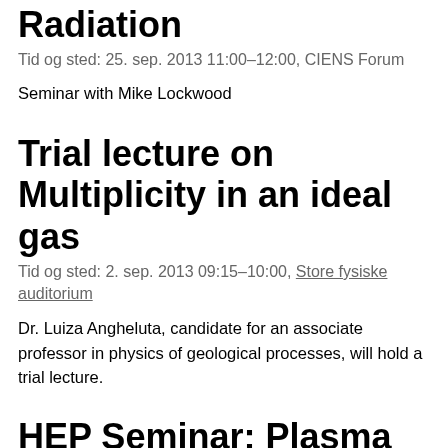Radiation
Tid og sted: 25. sep. 2013 11:00–12:00, CIENS Forum
Seminar with Mike Lockwood
Trial lecture on Multiplicity in an ideal gas
Tid og sted: 2. sep. 2013 09:15–10:00, Store fysiske auditorium
Dr. Luiza Angheluta, candidate for an associate professor in physics of geological processes, will hold a trial lecture.
HEP Seminar: Plasma wake field